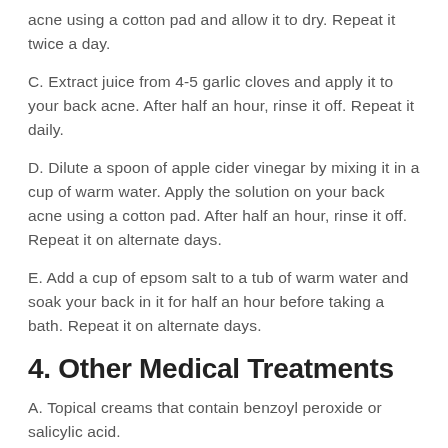acne using a cotton pad and allow it to dry. Repeat it twice a day.
C. Extract juice from 4-5 garlic cloves and apply it to your back acne. After half an hour, rinse it off. Repeat it daily.
D. Dilute a spoon of apple cider vinegar by mixing it in a cup of warm water. Apply the solution on your back acne using a cotton pad. After half an hour, rinse it off. Repeat it on alternate days.
E. Add a cup of epsom salt to a tub of warm water and soak your back in it for half an hour before taking a bath. Repeat it on alternate days.
4. Other Medical Treatments
A. Topical creams that contain benzoyl peroxide or salicylic acid.